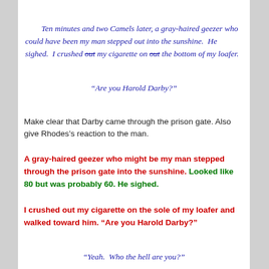Ten minutes and two Camels later, a gray-haired geezer who could have been my man stepped out into the sunshine.  He sighed.  I crushed out my cigarette on out the bottom of my loafer.
“Are you Harold Darby?”
Make clear that Darby came through the prison gate. Also give Rhodes’s reaction to the man.
A gray-haired geezer who might be my man stepped through the prison gate into the sunshine. Looked like 80 but was probably 60. He sighed.
I crushed out my cigarette on the sole of my loafer and walked toward him. “Are you Harold Darby?”
“Yeah.  Who the hell are you?”